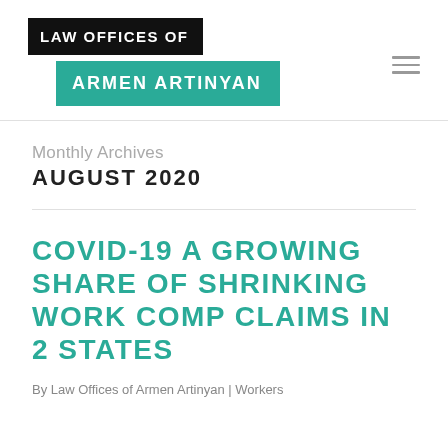LAW OFFICES OF ARMEN ARTINYAN
Monthly Archives
AUGUST 2020
COVID-19 A GROWING SHARE OF SHRINKING WORK COMP CLAIMS IN 2 STATES
By Law Offices of Armen Artinyan | Workers